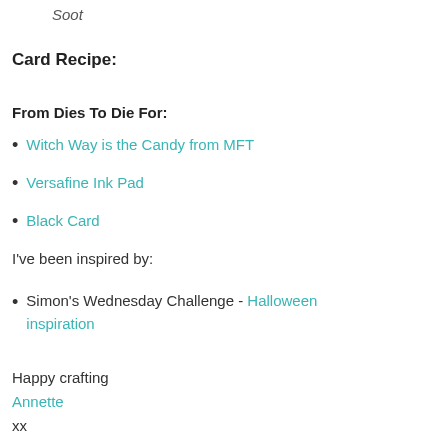Soot
Card Recipe:
From Dies To Die For:
Witch Way is the Candy from MFT
Versafine Ink Pad
Black Card
I've been inspired by:
Simon's Wednesday Challenge - Halloween inspiration
Happy crafting
Annette
xx